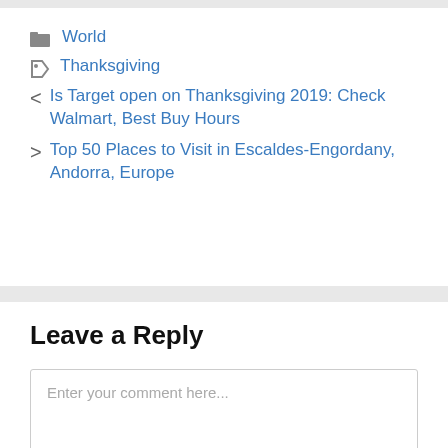World
Thanksgiving
< Is Target open on Thanksgiving 2019: Check Walmart, Best Buy Hours
> Top 50 Places to Visit in Escaldes-Engordany, Andorra, Europe
Leave a Reply
Enter your comment here...